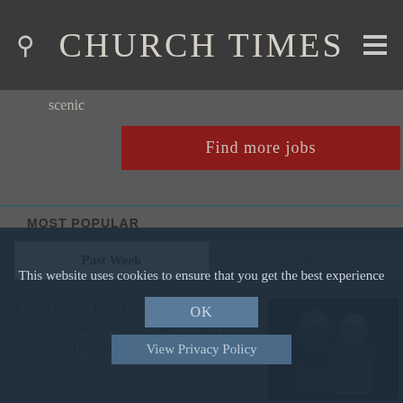CHURCH TIMES
scenic
Find more jobs
MOST POPULAR
Past Week
Past Month
1. Gafcon forms new diocese in Australia — and is welcomed by the Archbishop of Sydney
[Figure (photo): Two people photographed at what appears to be a conference or event, dark background]
This website uses cookies to ensure that you get the best experience
OK
View Privacy Policy